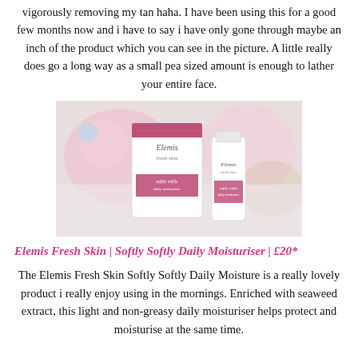vigorously removing my tan haha. I have been using this for a good few months now and i have to say i have only gone through maybe an inch of the product which you can see in the picture. A little really does go a long way as a small pea sized amount is enough to lather your entire face.
[Figure (photo): Photo of Elemis Fresh Skin Softly Softly Daily Moisturiser product box and bottle on a white surface with pink accessories in the background.]
Elemis Fresh Skin | Softly Softly Daily Moisturiser | £20*
The Elemis Fresh Skin Softly Softly Daily Moisture is a really lovely product i really enjoy using in the mornings. Enriched with seaweed extract, this light and non-greasy daily moisturiser helps protect and moisturise at the same time.